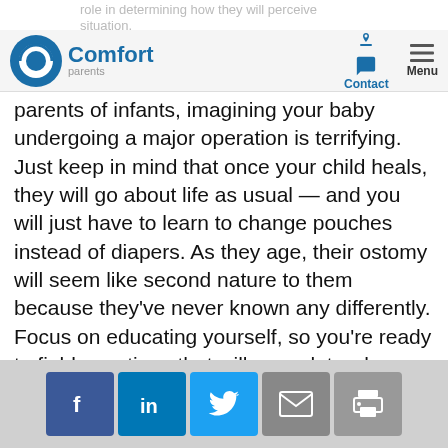Comfort Parents — navigation bar with Contact and Menu
role in determining how they will perceive their new situation.
parents of infants, imagining your baby undergoing a major operation is terrifying. Just keep in mind that once your child heals, they will go about life as usual — and you will just have to learn to change pouches instead of diapers. As they age, their ostomy will seem like second nature to them because they've never known any differently. Focus on educating yourself, so you're ready to field questions that will come later down the road. If a health condition or trauma results in an ostomy during the toddler years, your child is too young to fully understand, but will likely be curious and may surprise you with a lot of questions. Toddlers are infamous for driving their parents crazy simply by
Social share buttons: Facebook, LinkedIn, Twitter, Email, Print